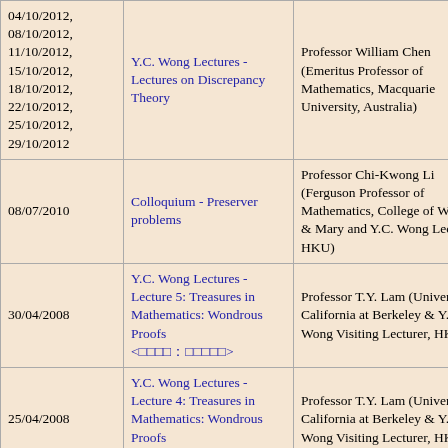| Date | Title | Speaker |
| --- | --- | --- |
| 04/10/2012, 08/10/2012, 11/10/2012, 15/10/2012, 18/10/2012, 22/10/2012, 25/10/2012, 29/10/2012 | Y.C. Wong Lectures - Lectures on Discrepancy Theory | Professor William Chen (Emeritus Professor of Mathematics, Macquarie University, Australia) |
| 08/07/2010 | Colloquium - Preserver problems | Professor Chi-Kwong Li (Ferguson Professor of Mathematics, College of William & Mary and Y.C. Wong Lecturer, HKU) |
| 30/04/2008 | Y.C. Wong Lectures - Lecture 5: Treasures in Mathematics: Wondrous Proofs <□□□□:□□□□□> | Professor T.Y. Lam (University of California at Berkeley & Y.C. Wong Visiting Lecturer, HKU) |
| 25/04/2008 | Y.C. Wong Lectures - Lecture 4: Treasures in Mathematics: Wondrous Proofs <□□□□:□□□□□> | Professor T.Y. Lam (University of California at Berkeley & Y.C. Wong Visiting Lecturer, HKU) |